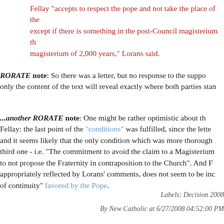Fellay "accepts to respect the pope and not take the place of the except if there is something in the post-Council magisterium th magisterium of 2,000 years," Lorans said.
RORATE note: So there was a letter, but no response to the suppo only the content of the text will reveal exactly where both parties stan
...another RORATE note: One might be rather optimistic about th Fellay: the last point of the "conditions" was fulfilled, since the lette and it seems likely that the only condition which was more thorough third one - i.e. "The commitment to avoid the claim to a Magisterium to not propose the Fraternity in contraposition to the Church". And F appropriately reflected by Lorans' comments, does not seem to be inc of continuity" favored by the Pope.
Labels: Decision 2008
By New Catholic at 6/27/2008 04:52:00 PM